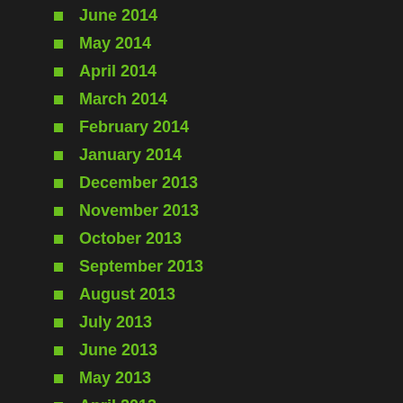June 2014
May 2014
April 2014
March 2014
February 2014
January 2014
December 2013
November 2013
October 2013
September 2013
August 2013
July 2013
June 2013
May 2013
April 2013
March 2013
February 2013
January 2013
December 2012
November 2012
October 2012
September 2012